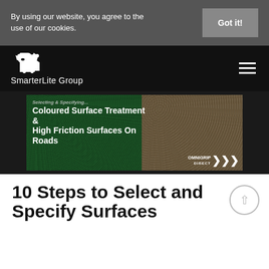By using our website, you agree to the use of our cookies.
Got it!
[Figure (logo): SmarterLite Group logo with white polar bear icon and white text 'SmarterLite Group' on black background, with hamburger menu icon]
[Figure (photo): Hero image showing green coloured surface treatment on left and gravel/high friction surface on right, with bold white text overlay reading 'Selecting & Specifying Coloured Surface Treatment & High Friction Surfaces On Roads' and OMNIGRIP DIRECT logo with arrows]
10 Steps to Select and Specify Surfaces